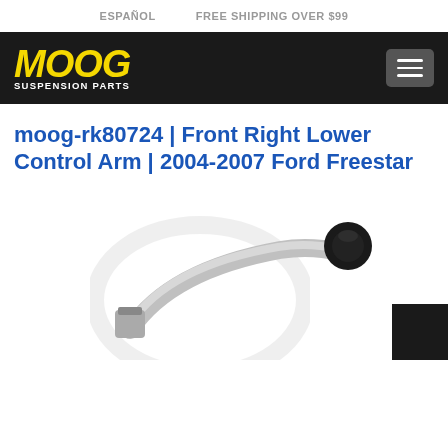ESPAÑOL   FREE SHIPPING OVER $99
[Figure (logo): MOOG Suspension Parts logo in yellow italic bold text on black navigation bar, with hamburger menu button on the right]
moog-rk80724 | Front Right Lower Control Arm | 2004-2007 Ford Freestar
[Figure (photo): Photo of a front right lower control arm part, metallic silver arm with black ball joint, shown at angle with MOOG watermark circle visible. Black square partially visible at bottom right.]